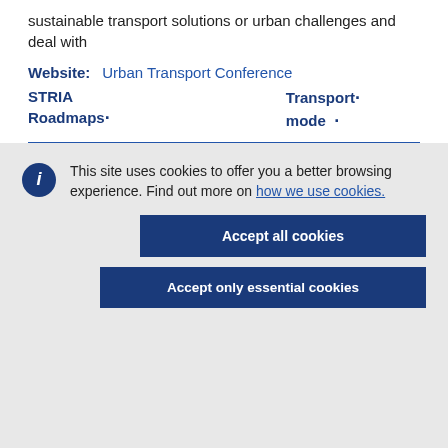sustainable transport solutions or urban challenges and deal with
Website:    Urban Transport Conference
STRIA Roadmaps·                                Transport mode·
This site uses cookies to offer you a better browsing experience. Find out more on how we use cookies.
Accept all cookies
Accept only essential cookies